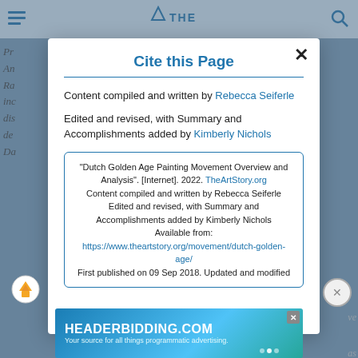[Figure (screenshot): Website navigation bar with hamburger menu icon on left, THE logo/text in center, and search icon on right, on a light blue background]
Cite this Page
Content compiled and written by Rebecca Seiferle
Edited and revised, with Summary and Accomplishments added by Kimberly Nichols
"Dutch Golden Age Painting Movement Overview and Analysis". [Internet]. 2022. TheArtStory.org Content compiled and written by Rebecca Seiferle Edited and revised, with Summary and Accomplishments added by Kimberly Nichols Available from: https://www.theartstory.org/movement/dutch-golden-age/ First published on 09 Sep 2018. Updated and modified
[Figure (screenshot): Advertisement banner for HEADERBIDDING.COM - Your source for all things programmatic advertising]